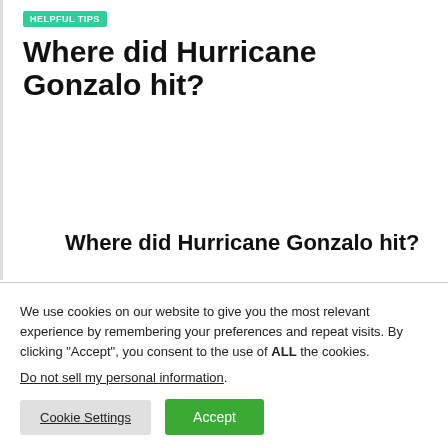HELPFUL TIPS
Where did Hurricane Gonzalo hit?
Where did Hurricane Gonzalo hit?
We use cookies on our website to give you the most relevant experience by remembering your preferences and repeat visits. By clicking “Accept”, you consent to the use of ALL the cookies.
Do not sell my personal information.
Cookie Settings  Accept